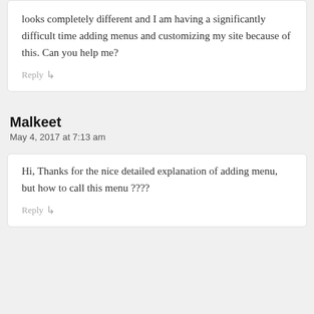looks completely different and I am having a significantly difficult time adding menus and customizing my site because of this. Can you help me?
Reply ↳
Malkeet
May 4, 2017 at 7:13 am
Hi, Thanks for the nice detailed explanation of adding menu, but how to call this menu ????
Reply ↳